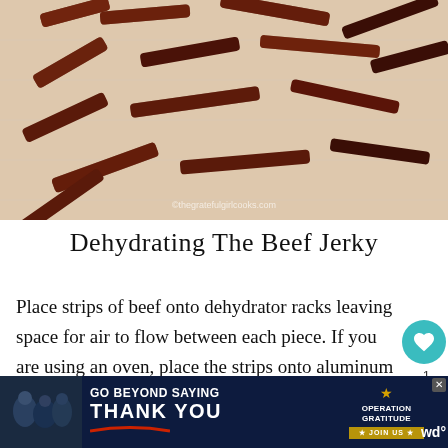[Figure (photo): Strips of beef jerky laid out on a white surface/paper towels, close-up photo with watermark 'thegratefulgirlcooks.com']
Dehydrating The Beef Jerky
Place strips of beef onto dehydrator racks leaving space for air to flow between each piece. If you are using an oven, place the strips onto aluminum foil covered baking sheets.
[Figure (other): Advertisement banner: GO BEYOND SAYING THANK YOU - Operation Gratitude JOIN US]
wd°